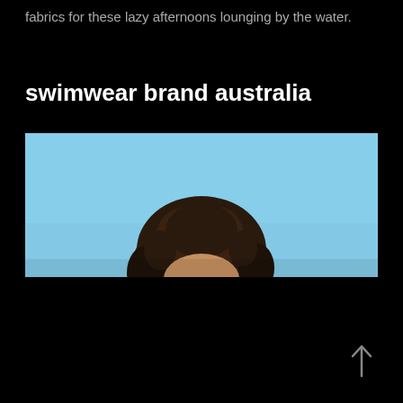fabrics for these lazy afternoons lounging by the water.
swimwear brand australia
[Figure (photo): Cropped photo of a woman with dark curly hair against a light blue sky background, showing only the top portion of her head/face.]
↑